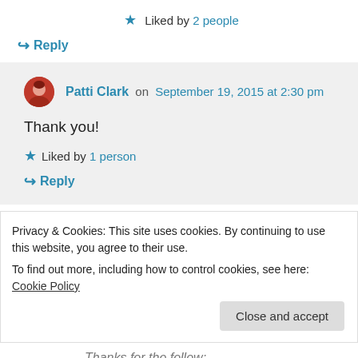★ Liked by 2 people
↪ Reply
Patti Clark on September 19, 2015 at 2:30 pm
Thank you!
★ Liked by 1 person
↪ Reply
Privacy & Cookies: This site uses cookies. By continuing to use this website, you agree to their use.
To find out more, including how to control cookies, see here: Cookie Policy
Close and accept
Thanks for the follow: